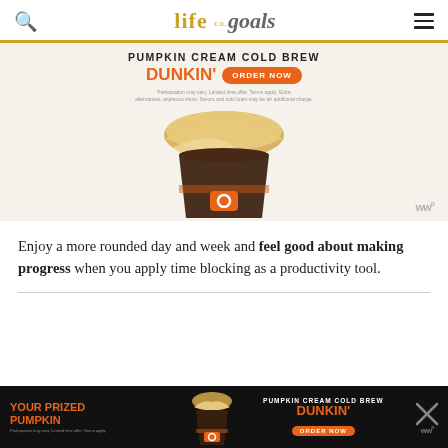life co. goals
[Figure (photo): Dunkin' Pumpkin Cream Cold Brew advertisement banner showing a cold brew coffee cup with cream foam on top. Text: PUMPKIN CREAM COLD BREW, DUNKIN', ORDER NOW. Fine print: Participation may vary. Limited time offer. Terms apply. Extra alternatives, espresso shots, flavors and cold foam may be an additional charge.]
Enjoy a more rounded day and week and feel good about making progress when you apply time blocking as a productivity tool.
[Figure (photo): Dunkin' Pumpkin Cream Cold Brew bottom banner advertisement on dark background. Text: YOUR PRIZED PUMPKIN, PUMPKIN CREAM COLD BREW, DUNKIN', ORDER NOW. Fine print: Participation may vary. Limited time offer. Terms apply.]